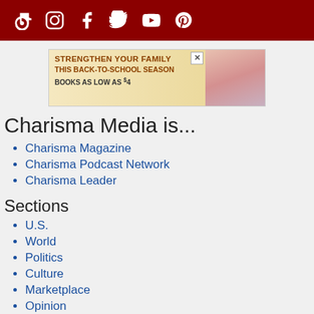Social media icons: TikTok, Instagram, Facebook, Twitter, YouTube, Pinterest
[Figure (infographic): Advertisement banner: STRENGTHEN YOUR FAMILY THIS BACK-TO-SCHOOL SEASON BOOKS AS LOW AS $4, with photo of mother and child]
Charisma Media is...
Charisma Magazine
Charisma Podcast Network
Charisma Leader
Sections
U.S.
World
Politics
Culture
Marketplace
Opinion
Charisma Magazine Site